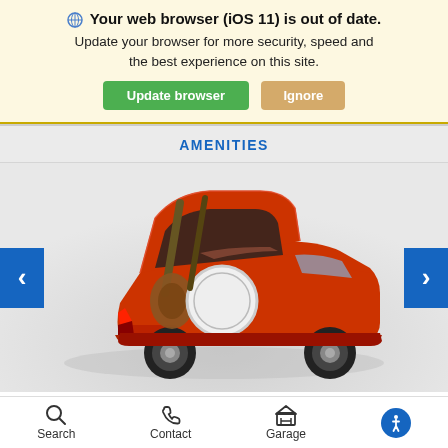Your web browser (iOS 11) is out of date. Update your browser for more security, speed and the best experience on this site. Update browser | Ignore
AMENITIES
[Figure (photo): Red Honda Fit hatchback photographed from the rear-left with the rear hatch open, revealing musical instruments (guitar, drum) loaded in the cargo area. Gray background. Left and right blue navigation arrows visible on sides.]
2nd-row Magic Seat®
Search   Contact   Garage   (accessibility icon)